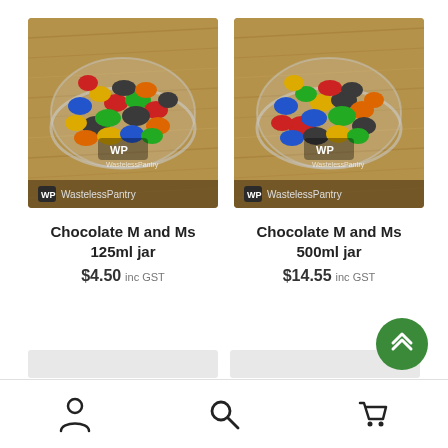[Figure (photo): Photo of M&M chocolates in a glass bowl on a wooden surface with WastelessPantry watermark logo, for Chocolate M and Ms 125ml jar product]
[Figure (photo): Photo of M&M chocolates in a glass bowl on a wooden surface with WastelessPantry watermark logo, for Chocolate M and Ms 500ml jar product]
Chocolate M and Ms 125ml jar
Chocolate M and Ms 500ml jar
$4.50 inc GST
$14.55 inc GST